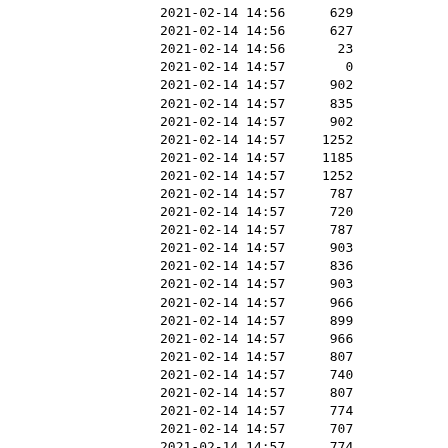| datetime | value |
| --- | --- |
| 2021-02-14 14:56 | 629 |
| 2021-02-14 14:56 | 627 |
| 2021-02-14 14:56 | 23 |
| 2021-02-14 14:57 | 0 |
| 2021-02-14 14:57 | 902 |
| 2021-02-14 14:57 | 835 |
| 2021-02-14 14:57 | 902 |
| 2021-02-14 14:57 | 1252 |
| 2021-02-14 14:57 | 1185 |
| 2021-02-14 14:57 | 1252 |
| 2021-02-14 14:57 | 787 |
| 2021-02-14 14:57 | 720 |
| 2021-02-14 14:57 | 787 |
| 2021-02-14 14:57 | 903 |
| 2021-02-14 14:57 | 836 |
| 2021-02-14 14:57 | 903 |
| 2021-02-14 14:57 | 966 |
| 2021-02-14 14:57 | 899 |
| 2021-02-14 14:57 | 966 |
| 2021-02-14 14:57 | 807 |
| 2021-02-14 14:57 | 740 |
| 2021-02-14 14:57 | 807 |
| 2021-02-14 14:57 | 774 |
| 2021-02-14 14:57 | 707 |
| 2021-02-14 14:57 | 774 |
| 2021-02-14 14:57 | 896 |
| 2021-02-14 14:57 | 829 |
| 2021-02-14 14:57 | 896 |
| 2021-02-14 14:57 | 793 |
| 2021-02-14 14:57 | 726 |